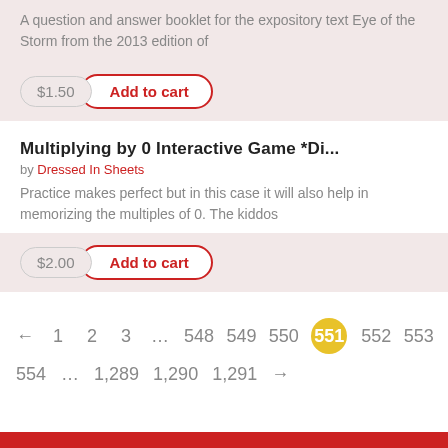A question and answer booklet for the expository text Eye of the Storm from the 2013 edition of
$1.50  Add to cart
Multiplying by 0 Interactive Game *Di...
by Dressed In Sheets
Practice makes perfect but in this case it will also help in memorizing the multiples of 0. The kiddos
$2.00  Add to cart
← 1 2 3 … 548 549 550 551 552 553 554 … 1,289 1,290 1,291 →